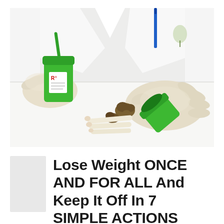[Figure (photo): A person wearing white latex gloves and a white lab coat, holding a green prescription medicine container (labeled Rx) next to cannabis buds and rolled cigarettes on a white surface. A blue pen is visible in the background, along with another green prescription bottle. Medical/cannabis dispensary scene.]
[Figure (photo): Small thumbnail image placeholder (gray square)]
Lose Weight ONCE AND FOR ALL And Keep It Off In 7 SIMPLE ACTIONS